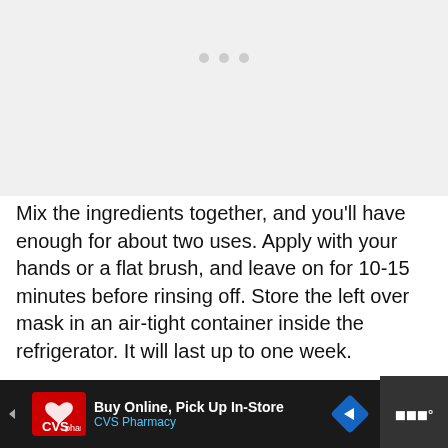[Figure (photo): Light gray placeholder image area with three small gray dots near top center, representing an image slideshow or gallery placeholder.]
Mix the ingredients together, and you’ll have enough for about two uses. Apply with your hands or a flat brush, and leave on for 10-15 minutes before rinsing off. Store the left over mask in an air-tight container inside the refrigerator. It will last up to one week.
[Figure (photo): Partial view of the top of a person's head with dark hair, with a watermark reading GADGETS.TV in the upper right corner.]
Buy Online, Pick Up In-Store
CVS Pharmacy